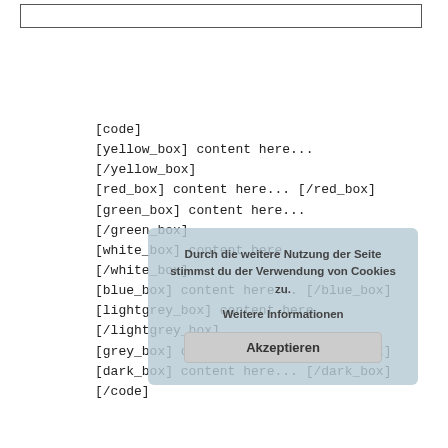[Figure (screenshot): Top bordered input box element]
[code]
[yellow_box] content here...
[/yellow_box]
[red_box] content here... [/red_box]
[green_box] content here...
[/green_box]
[white_box] content here...
[/white_box]
[blue_box] content here... [/blue_box]
[lightgrey_box] content here...
[/lightgrey_box]
[grey_box] content here... [/grey_box]
[dark_box] content here... [/dark_box]
[/code]
[Figure (screenshot): Cookie consent overlay in German with Akzeptieren button]